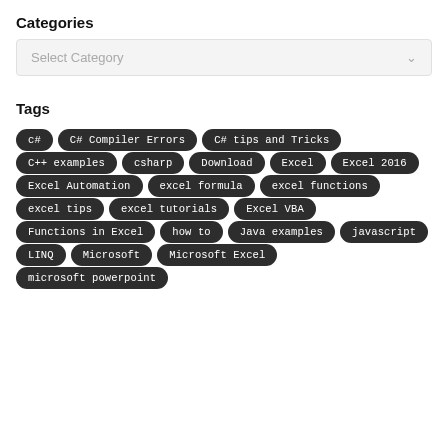Categories
[Figure (screenshot): A dropdown select box with placeholder text 'Select Category' and a chevron arrow on the right]
Tags
c#
C# Compiler Errors
C# tips and Tricks
C++ examples
csharp
Download
Excel
Excel 2016
Excel Automation
excel formula
excel functions
excel tips
excel tutorials
Excel VBA
Functions in Excel
how to
Java examples
javascript
LINQ
Microsoft
Microsoft Excel
microsoft powerpoint